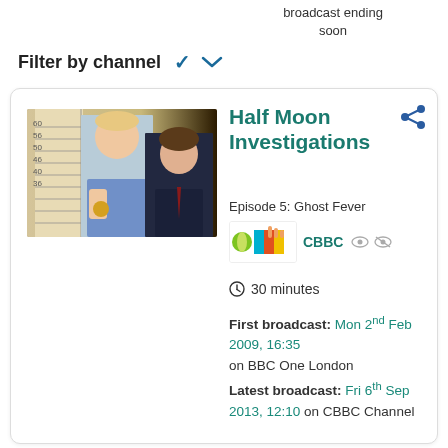broadcast ending soon
Filter by channel
[Figure (screenshot): TV show listing card for Half Moon Investigations, Episode 5: Ghost Fever on CBBC, with a mugshot-style photo of two boys against a height chart background]
Half Moon Investigations
Episode 5: Ghost Fever
CBBC
30 minutes
First broadcast: Mon 2nd Feb 2009, 16:35 on BBC One London
Latest broadcast: Fri 6th Sep 2013, 12:10 on CBBC Channel